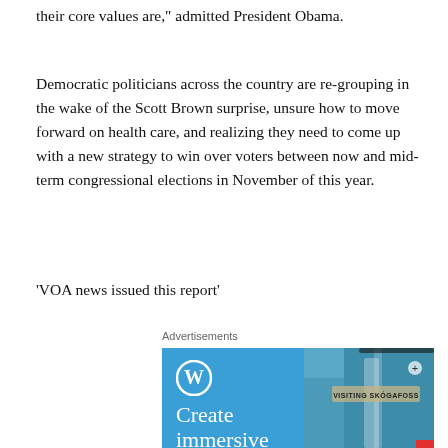their core values are," admitted President Obama.
Democratic politicians across the country are re-grouping in the wake of the Scott Brown surprise, unsure how to move forward on health care, and realizing they need to come up with a new strategy to win over voters between now and mid-term congressional elections in November of this year.
'VOA news issued this report'
Advertisements
[Figure (other): WordPress advertisement banner with blue background, WordPress logo (W in circle), text 'Create immersive stories.' on left, and a smartphone showing a travel story 'VISITING SKOGAFOSS' on the right with a waterfall photo.]